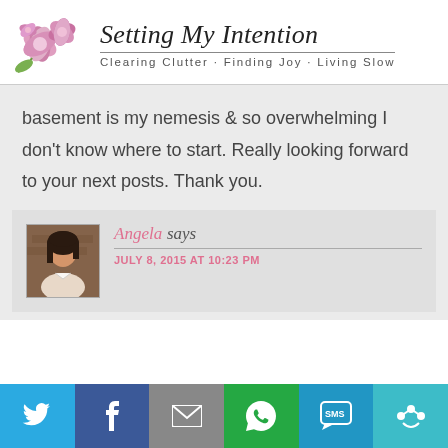Setting My Intention — Clearing Clutter · Finding Joy · Living Slow
basement is my nemesis & so overwhelming I don't know where to start. Really looking forward to your next posts. Thank you.
Angela says — JULY 8, 2015 AT 10:23 PM
[Figure (other): Social sharing bar with Twitter, Facebook, Email, WhatsApp, SMS, and More buttons]